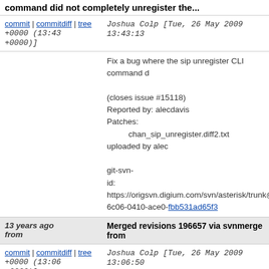command did not completely unregister the...
commit | commitdiff | tree   Joshua Colp [Tue, 26 May 2009 13:43:13 +0000 (13:43 +0000)]
Fix a bug where the sip unregister CLI command d...

(closes issue #15118)
Reported by: alecdavis
Patches:
    chan_sip_unregister.diff2.txt uploaded by alec...

git-svn-id: https://origsvn.digium.com/svn/asterisk/trunk@...
6c06-0410-ace0-fbb531ad65f3
13 years ago from    Merged revisions 196657 via svnmerge from
commit | commitdiff | tree   Joshua Colp [Tue, 26 May 2009 13:06:50 +0000 (13:06 +0000)]
Merged revisions 196657 via svnmerge from
https://origsvn.digium.com/svn/asterisk/branches/1...

........
  r196657 | file | 2009-05-26 10:06:09 -0300 (Tue, 26 May 2009) | 7 lines

Remove some bash specific stuff from safe_asto...